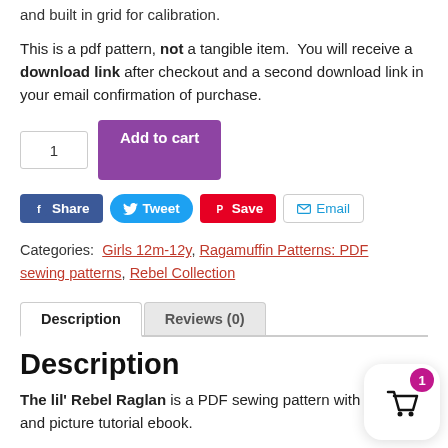and built in grid for calibration.
This is a pdf pattern, not a tangible item. You will receive a download link after checkout and a second download link in your email confirmation of purchase.
Categories: Girls 12m-12y, Ragamuffin Patterns: PDF sewing patterns, Rebel Collection
Description
Reviews (0)
Description
The lil' Rebel Raglan is a PDF sewing pattern with written and picture tutorial ebook.